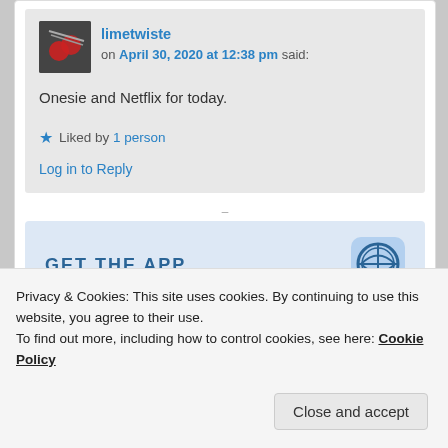limetwiste on April 30, 2020 at 12:38 pm said:
Onesie and Netflix for today.
★ Liked by 1 person
Log in to Reply
GET THE APP
Privacy & Cookies: This site uses cookies. By continuing to use this website, you agree to their use. To find out more, including how to control cookies, see here: Cookie Policy
Close and accept